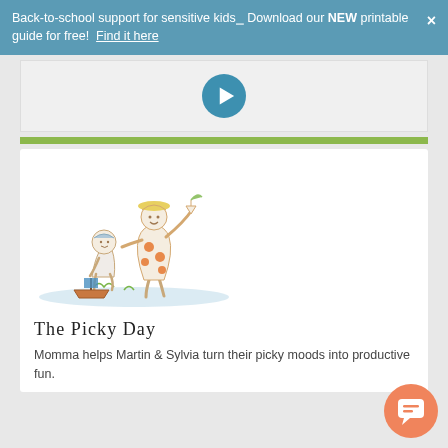Back-to-school support for sensitive kids―Download our NEW printable guide for free!  Find it here
[Figure (other): Video player area with a teal circular play button on a light grey background]
[Figure (illustration): Children's book illustration of a mother figure in a polka-dot dress holding a paper boat with a small green plant, with a child crouching and playing with a toy boat in water]
The Picky Day
Momma helps Martin & Sylvia turn their picky moods into productive fun.